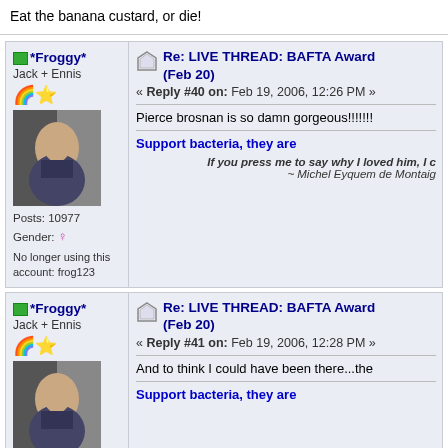Eat the banana custard, or die!
*Froggy* | Jack + Ennis | Posts: 10977 | Gender: female | No longer using this account: frog123 | Re: LIVE THREAD: BAFTA Award (Feb 20) | Reply #40 on: Feb 19, 2006, 12:26 PM | Pierce brosnan is so damn gorgeous!!!!!!!! | Support bacteria, they are... | If you press me to say why I loved him, I c... | ~ Michel Eyquem de Montaig...
*Froggy* | Jack + Ennis | Posts: 10977 | Gender: female | No longer using this account: frog123 | Re: LIVE THREAD: BAFTA Award (Feb 20) | Reply #41 on: Feb 19, 2006, 12:28 PM | And to think I could have been there...the... | Support bacteria, they are...